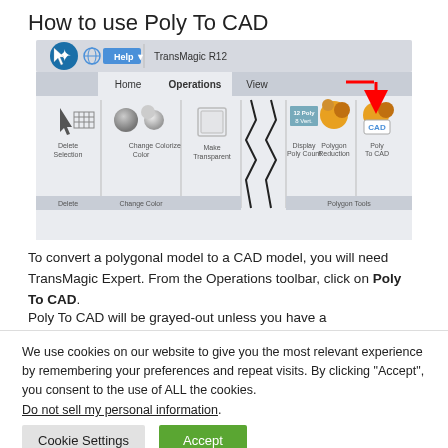How to use Poly To CAD
[Figure (screenshot): TransMagic R12 Operations toolbar showing Polygon Tools section with a red arrow pointing to the Poly To CAD button]
To convert a polygonal model to a CAD model, you will need TransMagic Expert. From the Operations toolbar, click on Poly To CAD.
Poly To CAD will be grayed-out unless you have a
We use cookies on our website to give you the most relevant experience by remembering your preferences and repeat visits. By clicking “Accept”, you consent to the use of ALL the cookies.
Do not sell my personal information.